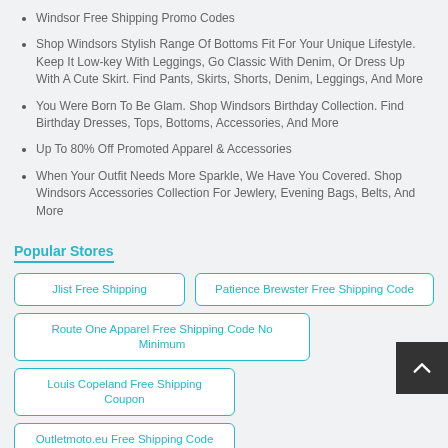Windsor Free Shipping Promo Codes
Shop Windsors Stylish Range Of Bottoms Fit For Your Unique Lifestyle. Keep It Low-key With Leggings, Go Classic With Denim, Or Dress Up With A Cute Skirt. Find Pants, Skirts, Shorts, Denim, Leggings, And More
You Were Born To Be Glam. Shop Windsors Birthday Collection. Find Birthday Dresses, Tops, Bottoms, Accessories, And More
Up To 80% Off Promoted Apparel & Accessories
When Your Outfit Needs More Sparkle, We Have You Covered. Shop Windsors Accessories Collection For Jewlery, Evening Bags, Belts, And More
Popular Stores
Jlist Free Shipping
Patience Brewster Free Shipping Code
Route One Apparel Free Shipping Code No Minimum
Louis Copeland Free Shipping Coupon
Outletmoto.eu Free Shipping Code